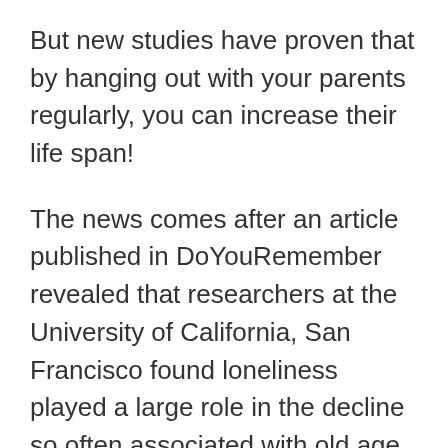But new studies have proven that by hanging out with your parents regularly, you can increase their life span!
The news comes after an article published in DoYouRemember revealed that researchers at the University of California, San Francisco found loneliness played a large role in the decline so often associated with old age.
The study followed 1,600 adults, with an average age of 71 – despite controlling for socioeconomic status and health, the lonely consistently held higher mortality rates.